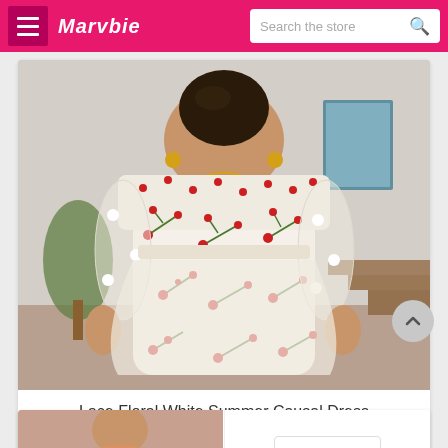Marvbie — Search the store
[Figure (photo): Woman wearing a white lace floral off-shoulder summer dress with red embroidered flowers and sheer sleeves, shown from behind.]
Lace Floral White Summer Causal Dress
$34.88
[Figure (photo): Partial view of a second product listing showing a woman in a colorful outfit, partially cut off at the bottom of the page.]
English